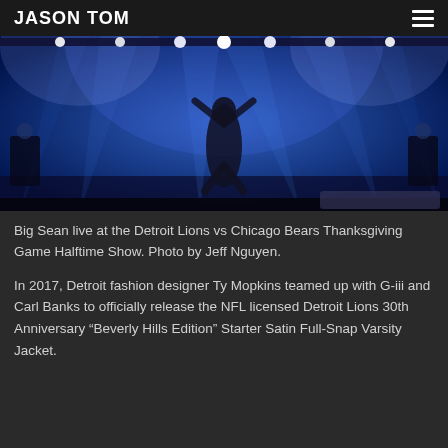JASON TOM
[Figure (photo): Concert stage photo of Big Sean performing live with blue stage lighting and spotlights, arms raised, wearing a black outfit.]
Big Sean live at the Detroit Lions vs Chicago Bears Thanksgiving Game Halftime Show. Photo by Jeff Nguyen.
In 2017, Detroit fashion designer Ty Mopkins teamed up with G-iii and Carl Banks to officially release the NFL licensed Detroit Lions 30th Anniversary “Beverly Hills Edition” Starter Satin Full-Snap Varsity Jacket.